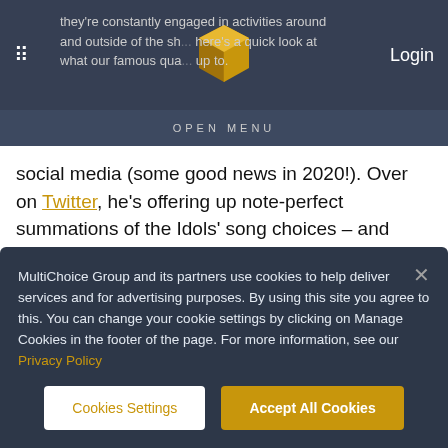they're constantly engaged in activities around and outside of the sh... here's a quick look at what our famous qua... up to. | Login
OPEN MENU
social media (some good news in 2020!). Over on Twitter, he's offering up note-perfect summations of the Idols' song choices – and they're as spot-on as his post-performance wrap-ups.
Randall Abrahams
MultiChoice Group and its partners use cookies to help deliver services and for advertising purposes. By using this site you agree to this. You can change your cookie settings by clicking on Manage Cookies in the footer of the page. For more information, see our Privacy Policy
Cookies Settings | Accept All Cookies